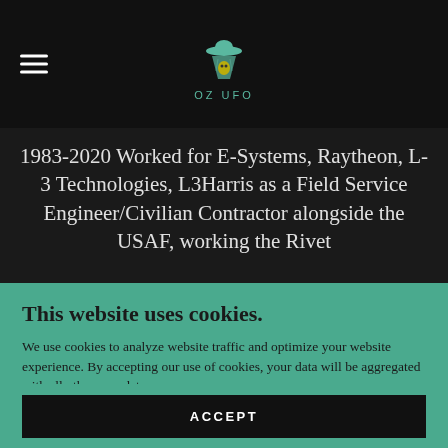[Figure (logo): OZ UFO logo — alien/UFO icon above text 'OZ UFO' in teal letters, on black header bar with hamburger menu icon on the left]
1983-2020 Worked for E-Systems, Raytheon, L-3 Technologies, L3Harris as a Field Service Engineer/Civilian Contractor alongside the USAF, working the Rivet
This website uses cookies.
We use cookies to analyze website traffic and optimize your website experience. By accepting our use of cookies, your data will be aggregated with all other user data.
ACCEPT